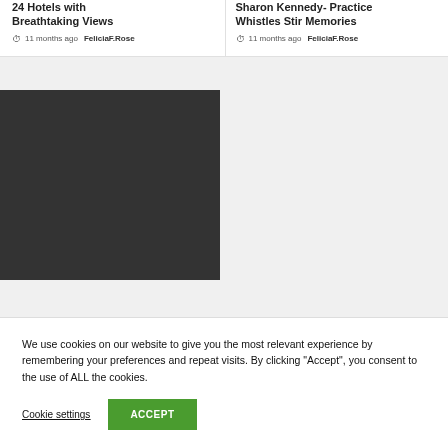24 Hotels with Breathtaking Views
11 months ago  FeliciaF.Rose
Sharon Kennedy- Practice Whistles Stir Memories
11 months ago  FeliciaF.Rose
[Figure (photo): Dark/black image placeholder in the left column below the article cards]
We use cookies on our website to give you the most relevant experience by remembering your preferences and repeat visits. By clicking "Accept", you consent to the use of ALL the cookies.
Cookie settings
ACCEPT